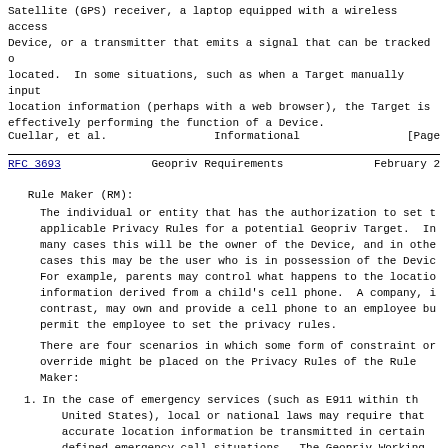Satellite (GPS) receiver, a laptop equipped with a wireless access Device, or a transmitter that emits a signal that can be tracked or located.  In some situations, such as when a Target manually inputs location information (perhaps with a web browser), the Target is effectively performing the function of a Device.
Cuellar, et al.                Informational                [Page
RFC 3693          Geopriv Requirements         February 2
Rule Maker (RM):
The individual or entity that has the authorization to set the applicable Privacy Rules for a potential Geopriv Target.  In many cases this will be the owner of the Device, and in other cases this may be the user who is in possession of the Device. For example, parents may control what happens to the location information derived from a child's cell phone.  A company, in contrast, may own and provide a cell phone to an employee but permit the employee to set the privacy rules.
There are four scenarios in which some form of constraint or override might be placed on the Privacy Rules of the Rule Maker:
1. In the case of emergency services (such as E911 within the United States), local or national laws may require that accurate location information be transmitted in certain defined emergency call situations.  The Geopriv Working Group MUST facilitate this situation.
2. In the case of legal interception, the RM may not be aware of an override directive imposed by a legal authority.